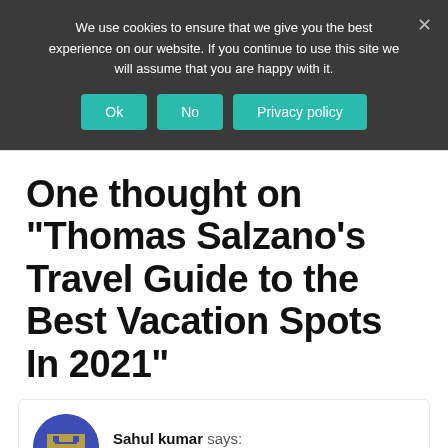We use cookies to ensure that we give you the best experience on our website. If you continue to use this site we will assume that you are happy with it.
One thought on “Thomas Salzano’s Travel Guide to the Best Vacation Spots In 2021”
Sahul kumar says:
April 29, 2020 at 7:44 PM
Hi